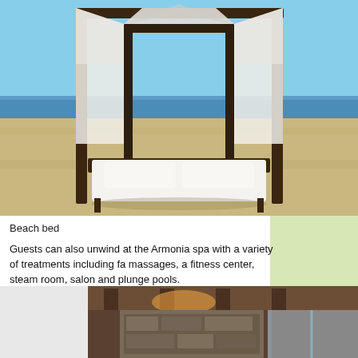[Figure (photo): A canopy beach bed with white drapes and white pillows, set on a sandy beach with the ocean and blue sky in the background.]
Beach bed
Guests can also unwind at the Armonia spa with a variety of treatments including fa massages, a fitness center, steam room, salon and plunge pools.
[Figure (photo): Interior photo showing a room with wooden beam ceiling, stone wall elements, and modern finishes.]